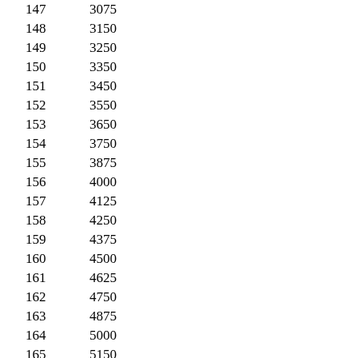| 147 | 3075 |
| 148 | 3150 |
| 149 | 3250 |
| 150 | 3350 |
| 151 | 3450 |
| 152 | 3550 |
| 153 | 3650 |
| 154 | 3750 |
| 155 | 3875 |
| 156 | 4000 |
| 157 | 4125 |
| 158 | 4250 |
| 159 | 4375 |
| 160 | 4500 |
| 161 | 4625 |
| 162 | 4750 |
| 163 | 4875 |
| 164 | 5000 |
| 165 | 5150 |
| 166 | 5300 |